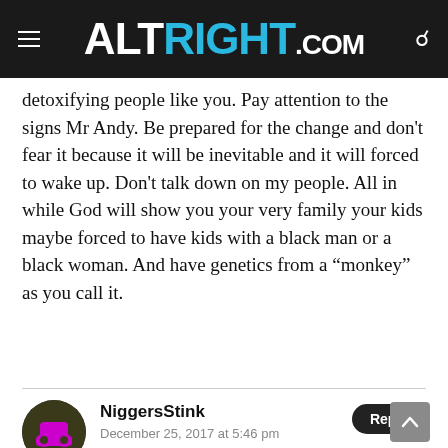ALTRIGHT.COM
detoxifying people like you. Pay attention to the signs Mr Andy. Be prepared for the change and don’t fear it because it will be inevitable and it will forced to wake up. Don’t talk down on my people. All in while God will show you your very family your kids maybe forced to have kids with a black man or a black woman. And have genetics from a “monkey” as you call it.
NiggersStink
December 25, 2017 at 5:46 pm
Keep dreaming, monkey. Your delusions and gaslighting are catching up. The time to pay your due is at